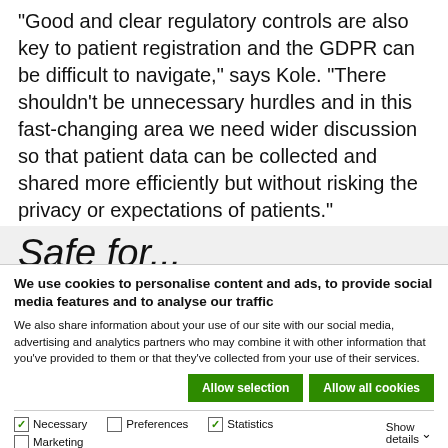“Good and clear regulatory controls are also key to patient registration and the GDPR can be difficult to navigate,” says Kole. “There shouldn’t be unnecessary hurdles and in this fast-changing area we need wider discussion so that patient data can be collected and shared more efficiently but without risking the privacy or expectations of patients.”
Safe for...
We use cookies to personalise content and ads, to provide social media features and to analyse our traffic
We also share information about your use of our site with our social media, advertising and analytics partners who may combine it with other information that you’ve provided to them or that they’ve collected from your use of their services.
Allow selection | Allow all cookies | Necessary | Preferences | Statistics | Marketing | Show details